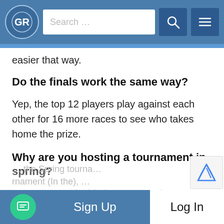GR logo, Search bar, navigation icons
easier that way.
Do the finals work the same way?
Yep, the top 12 players play against each other for 16 more races to see who takes home the prize.
Why are you hosting a tournament in spring?
Cause we've decided we want to have a tournament to represent each major season, to keep the year interesting here at Gaming ... the Spring tourna... rnament (In the), ...
Sign Up  Log In